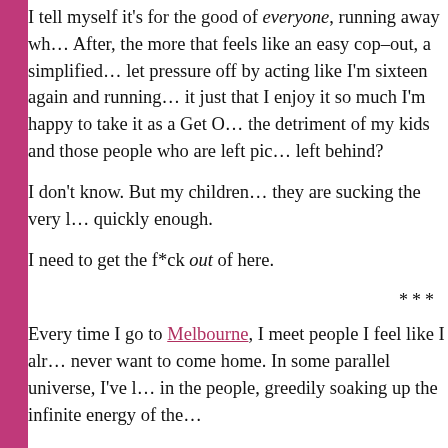I tell myself it's for the good of everyone, running away wh... After, the more that feels like an easy cop–out, a simplified... let pressure off by acting like I'm sixteen again and running... it just that I enjoy it so much I'm happy to take it as a Get O... the detriment of my kids and those people who are left pic... left behind?
I don't know. But my children… they are sucking the very l… quickly enough.
I need to get the f*ck out of here.
***
Every time I go to Melbourne, I meet people I feel like I alr… never want to come home. In some parallel universe, I've l… in the people, greedily soaking up the infinite energy of the…
In this Real Life, I eat and laugh and sleep and smile, liste… afternoon wandering the Queen Victoria Markets by mysel… myself. It's been a twisted scarlet ribbon of time since I've… contented with being in my own skin, as opposed to trapp…